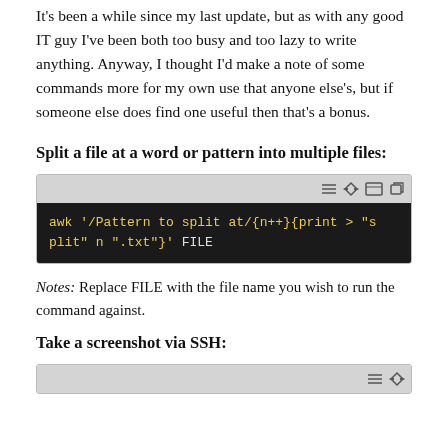It's been a while since my last update, but as with any good IT guy I've been both too busy and too lazy to write anything. Anyway, I thought I'd make a note of some commands more for my own use that anyone else's, but if someone else does find one useful then that's a bonus.
Split a file at a word or pattern into multiple files:
[Figure (screenshot): Terminal window showing the awk command: awk '/Pattern to split at/{n++}{print > "split" n ".txt"}' FILE]
Notes: Replace FILE with the file name you wish to run the command against.
Take a screenshot via SSH:
[Figure (screenshot): Terminal window partially visible at bottom of page]